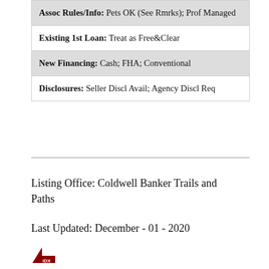| Assoc Rules/Info: Pets OK (See Rmrks); Prof Managed |
| Existing 1st Loan: Treat as Free&Clear |
| New Financing: Cash; FHA; Conventional |
| Disclosures: Seller Discl Avail; Agency Discl Req |
Listing Office: Coldwell Banker Trails and Paths
Last Updated: December - 01 - 2020
[Figure (logo): IDX logo - small triangular icon with IDX text]